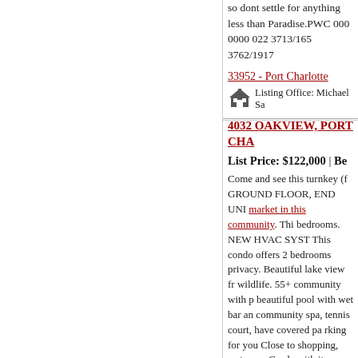so dont settle for anything less than Paradise.PWC 000 0000 022 3713/165 3762/1917
33952 - Port Charlotte
Listing Office: Michael Sa
4032 OAKVIEW, PORT CHA
List Price: $122,000  |  Be
Come and see this turnkey (f GROUND FLOOR, END UNI market in this community. Thi bedrooms. NEW HVAC SYST This condo offers 2 bedrooms privacy. Beautiful lake view fr wildlife. 55+ community with p beautiful pool with wet bar an community spa, tennis court, have covered pa rking for you Close to shopping, restauran Gorda with its unique restaura Very close to I-75 for quick ac and the Beaches.TAL 006 00 UN H-1 1011/787 1082/1723
33980 - Port Charlotte
Listing Office: COLDWE